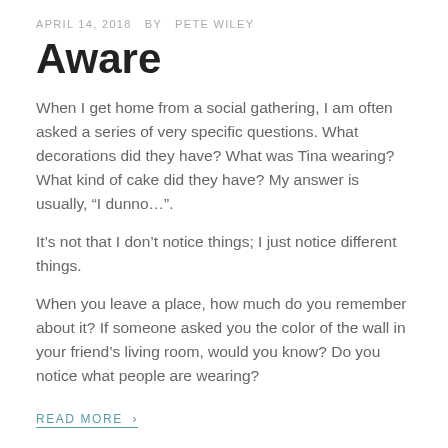APRIL 14, 2018  BY  PETE WILEY
Aware
When I get home from a social gathering, I am often asked a series of very specific questions. What decorations did they have? What was Tina wearing? What kind of cake did they have? My answer is usually, “I dunno…”.
It’s not that I don’t notice things; I just notice different things.
When you leave a place, how much do you remember about it? If someone asked you the color of the wall in your friend’s living room, would you know? Do you notice what people are wearing?
READ MORE ›